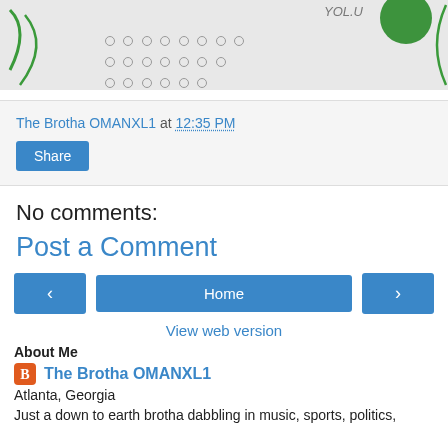[Figure (screenshot): Top portion of a blog page screenshot showing decorative dots, green circle and arc, with partial price text visible]
The Brotha OMANXL1 at 12:35 PM
Share
No comments:
Post a Comment
< Home >
View web version
About Me
The Brotha OMANXL1
Atlanta, Georgia
Just a down to earth brotha dabbling in music, sports, politics,